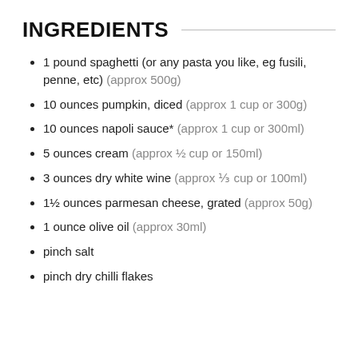INGREDIENTS
1 pound spaghetti (or any pasta you like, eg fusili, penne, etc) (approx 500g)
10 ounces pumpkin, diced (approx 1 cup or 300g)
10 ounces napoli sauce* (approx 1 cup or 300ml)
5 ounces cream (approx ½ cup or 150ml)
3 ounces dry white wine (approx ⅓ cup or 100ml)
1½ ounces parmesan cheese, grated (approx 50g)
1 ounce olive oil (approx 30ml)
pinch salt
pinch dry chilli flakes